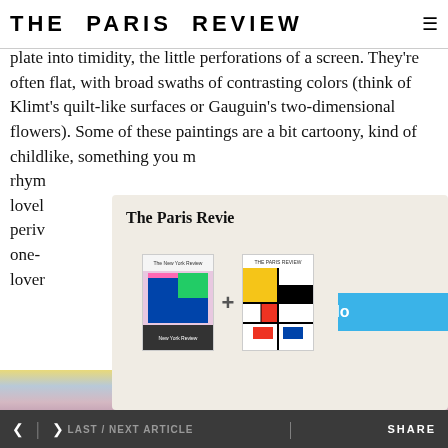THE PARIS REVIEW
plate into timidity, the little perforations of a screen. They're often flat, with broad swaths of contrasting colors (think of Klimt's quilt-like surfaces or Gauguin's two-dimensional flowers). Some of these paintings are a bit cartoony, kind of childlike, something you m[ight]... rhym[es]... lovel[y]... periv[inkle]... one-[of-a-kind]... lover[s]...
[Figure (screenshot): Modal subscription overlay for The Paris Review showing two magazine covers (The New York Review and The Paris Review) with a plus sign between them, a Subscribe Now button in blue, and text: 'Subscribe to both magazines at a special price and get a year of great criticism delivered to you.']
[Figure (photo): Painting with horizontal bands of yellow, blue-grey, pink, and mauve colors at bottom of page]
< > LAST / NEXT ARTICLE   SHARE